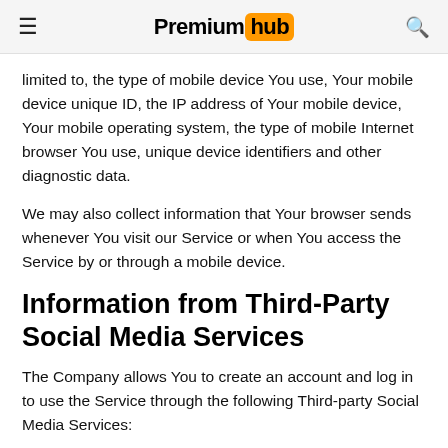Premium hub
limited to, the type of mobile device You use, Your mobile device unique ID, the IP address of Your mobile device, Your mobile operating system, the type of mobile Internet browser You use, unique device identifiers and other diagnostic data.
We may also collect information that Your browser sends whenever You visit our Service or when You access the Service by or through a mobile device.
Information from Third-Party Social Media Services
The Company allows You to create an account and log in to use the Service through the following Third-party Social Media Services:
Google